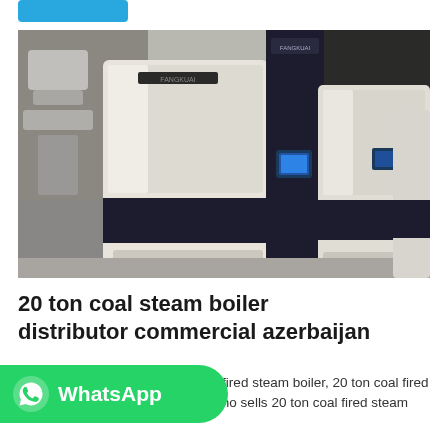[Figure (photo): Industrial coal fired steam boilers in a factory setting, cream and dark navy colored units with FANGKUAI branding]
20 ton coal steam boiler distributor commercial azerbaijan
[Figure (logo): WhatsApp green button with phone icon and WhatsApp text]
ufacturers Azerbaijan. 20 ton coal fired steam boiler, 20 ton coal fired steam . There are 975 suppliers who sells 20 ton coal fired steam